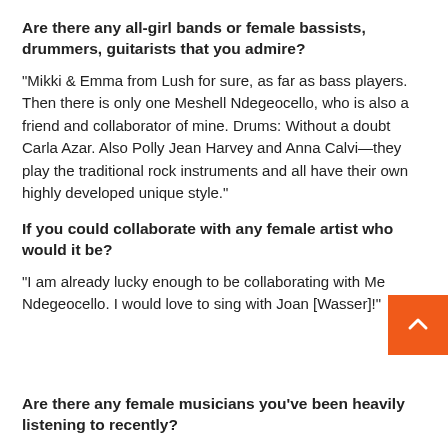Are there any all-girl bands or female bassists, drummers, guitarists that you admire?
“Mikki & Emma from Lush for sure, as far as bass players. Then there is only one Meshell Ndegeocello, who is also a friend and collaborator of mine. Drums: Without a doubt Carla Azar. Also Polly Jean Harvey and Anna Calvi—they play the traditional rock instruments and all have their own highly developed unique style.”
If you could collaborate with any female artist who would it be?
“I am already lucky enough to be collaborating with Me[shell] Ndegeocello. I would love to sing with Joan [Wasser]!”
Are there any female musicians you’ve been heavily listening to recently?
“I have been listening to Electric Lady by Janelle Monae a...